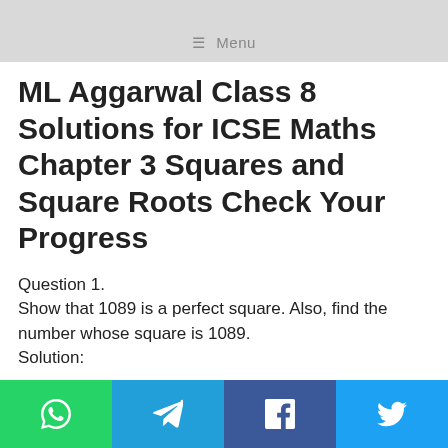≡ Menu
ML Aggarwal Class 8 Solutions for ICSE Maths Chapter 3 Squares and Square Roots Check Your Progress
Question 1.
Show that 1089 is a perfect square. Also, find the number whose square is 1089.
Solution: